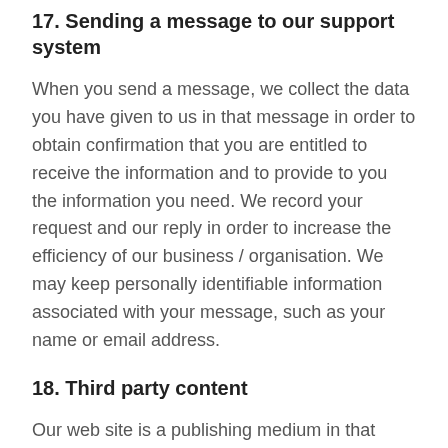17. Sending a message to our support system
When you send a message, we collect the data you have given to us in that message in order to obtain confirmation that you are entitled to receive the information and to provide to you the information you need. We record your request and our reply in order to increase the efficiency of our business / organisation. We may keep personally identifiable information associated with your message, such as your name or email address.
18. Third party content
Our web site is a publishing medium in that anyone may register and then publish information about himself or some other person. We do not moderate or control what is posted. If you complain about any of the content on our web